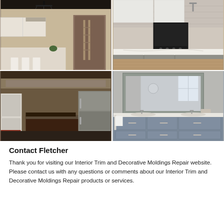[Figure (photo): Four interior home renovation photos arranged in a 2x2 grid. Top left: kitchen with chandelier and white cabinets. Top right: kitchen with black appliances and gray lower cabinets with white marble countertop. Bottom left: modern kitchen with pendant lights and dark finishes. Bottom right: bathroom with gray vanity and large mirror.]
Contact Fletcher
Thank you for visiting our Interior Trim and Decorative Moldings Repair website. Please contact us with any questions or comments about our Interior Trim and Decorative Moldings Repair products or services.